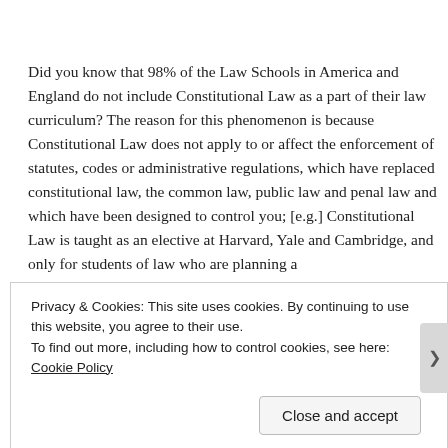Did you know that 98% of the Law Schools in America and England do not include Constitutional Law as a part of their law curriculum? The reason for this phenomenon is because Constitutional Law does not apply to or affect the enforcement of statutes, codes or administrative regulations, which have replaced constitutional law, the common law, public law and penal law and which have been designed to control you; [e.g.] Constitutional Law is taught as an elective at Harvard, Yale and Cambridge, and only for students of law who are planning a
Privacy & Cookies: This site uses cookies. By continuing to use this website, you agree to their use.
To find out more, including how to control cookies, see here: Cookie Policy